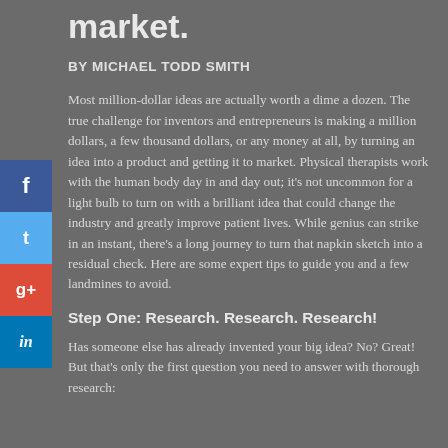market.
BY MICHAEL TODD SMITH
Most million-dollar ideas are actually worth a dime a dozen. The true challenge for inventors and entrepreneurs is making a million dollars, a few thousand dollars, or any money at all, by turning an idea into a product and getting it to market. Physical therapists work with the human body day in and day out; it's not uncommon for a light bulb to turn on with a brilliant idea that could change the industry and greatly improve patient lives. While genius can strike in an instant, there's a long journey to turn that napkin sketch into a residual check. Here are some expert tips to guide you and a few landmines to avoid.
Step One: Research. Research. Research!
Has someone else has already invented your big idea? No? Great! But that's only the first question you need to answer with thorough research: